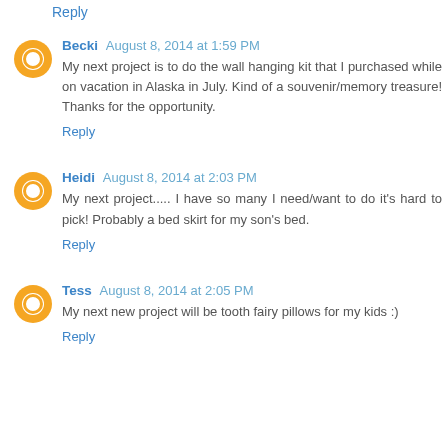Reply (partial, top of page)
Becki August 8, 2014 at 1:59 PM
My next project is to do the wall hanging kit that I purchased while on vacation in Alaska in July. Kind of a souvenir/memory treasure! Thanks for the opportunity.
Reply
Heidi August 8, 2014 at 2:03 PM
My next project..... I have so many I need/want to do it's hard to pick! Probably a bed skirt for my son's bed.
Reply
Tess August 8, 2014 at 2:05 PM
My next new project will be tooth fairy pillows for my kids :)
Reply